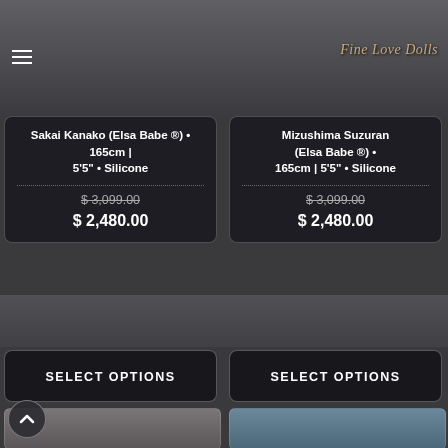[Figure (screenshot): Website screenshot showing two doll product listings with a hamburger menu icon on the left and Fine Love Dolls logo on the upper right]
Sakai Kanako (Elsa Babe ®) • 165cm | 5'5" • Silicone
Mizushima Suzuran (Elsa Babe ®) • 165cm | 5'5" • Silicone
$ 3,099.00 (strikethrough)
$ 2,480.00
$ 3,099.00 (strikethrough)
$ 2,480.00
SELECT OPTIONS
SELECT OPTIONS